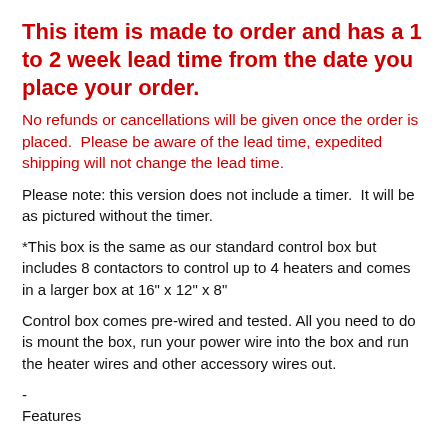This item is made to order and has a 1 to 2 week lead time from the date you place your order.
No refunds or cancellations will be given once the order is placed.  Please be aware of the lead time, expedited shipping will not change the lead time.
Please note: this version does not include a timer.  It will be as pictured without the timer.
*This box is the same as our standard control box but includes 8 contactors to control up to 4 heaters and comes in a larger box at 16" x 12" x 8"
Control box comes pre-wired and tested. All you need to do is mount the box, run your power wire into the box and run the heater wires and other accessory wires out.
-
Features